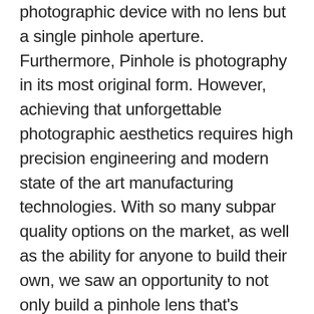photographic device with no lens but a single pinhole aperture. Furthermore, Pinhole is photography in its most original form. However, achieving that unforgettable photographic aesthetics requires high precision engineering and modern state of the art manufacturing technologies. With so many subpar quality options on the market, as well as the ability for anyone to build their own, we saw an opportunity to not only build a pinhole lens that's beautiful with exceptional build quality but also with precision engineering and rich inputs from the photographers and cinematographers themselves.